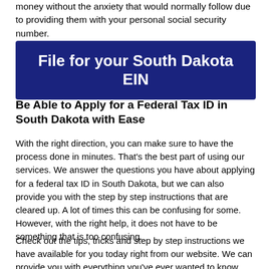money without the anxiety that would normally follow due to providing them with your personal social security number.
[Figure (other): Dark blue button with white bold text reading 'File for your South Dakota EIN']
Be Able to Apply for a Federal Tax ID in South Dakota with Ease
With the right direction, you can make sure to have the process done in minutes. That's the best part of using our services. We answer the questions you have about applying for a federal tax ID in South Dakota, but we can also provide you with the step by step instructions that are cleared up. A lot of times this can be confusing for some. However, with the right help, it does not have to be something that is too confusing.
Check out the tips, tricks and step by step instructions we have available for you today right from our website. We can provide you with everything you've ever wanted to know about the process so